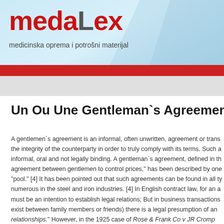medalex — medicinska oprema i potrošni materijal
Un Ou Une Gentleman`s Agreement
A gentlemen`s agreement is an informal, often unwritten, agreement or trans... the integrity of the counterparty in order to truly comply with its terms. Such a... informal, oral and not legally binding. A gentleman`s agreement, defined in th... agreement between gentlemen to control prices," has been described by one... "pool." [4] It has been pointed out that such agreements can be found in all ty... numerous in the steel and iron industries. [4] In English contract law, for an a... must be an intention to establish legal relations; But in business transactions... exist between family members or friends) there is a legal presumption of an... relationships." However, in the 1925 case of Rose & Frank Co v JR Crompt...